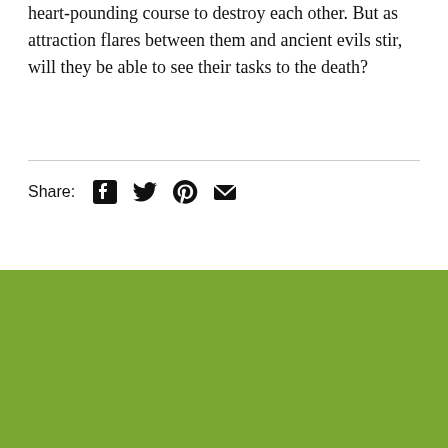heart-pounding course to destroy each other. But as attraction flares between them and ancient evils stir, will they be able to see their tasks to the death?
Share:
[Figure (other): Social sharing icons: Facebook, Twitter, Pinterest, Email]
"And Then What Happened?"
Join our email list to keep up with the latest arrivals and
[Figure (logo): ADA Site Compliance badge/seal with wheelchair accessibility icon]
difficulty accessing content on this website, please contact us at customerservice@booksofwonder.com or